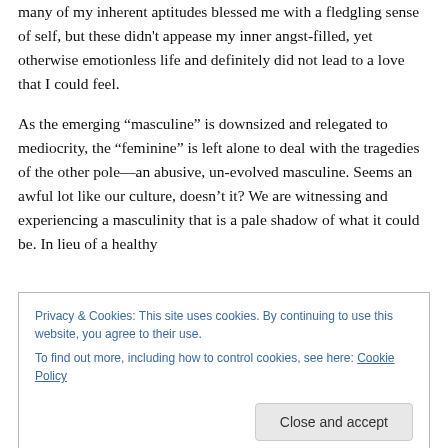many of my inherent aptitudes blessed me with a fledgling sense of self, but these didn't appease my inner angst-filled, yet otherwise emotionless life and definitely did not lead to a love that I could feel.
As the emerging “masculine” is downsized and relegated to mediocrity, the “feminine” is left alone to deal with the tragedies of the other pole—an abusive, un-evolved masculine. Seems an awful lot like our culture, doesn’t it? We are witnessing and experiencing a masculinity that is a pale shadow of what it could be. In lieu of a healthy
Privacy & Cookies: This site uses cookies. By continuing to use this website, you agree to their use.
To find out more, including how to control cookies, see here: Cookie Policy
addiction. Not a pretty picture.